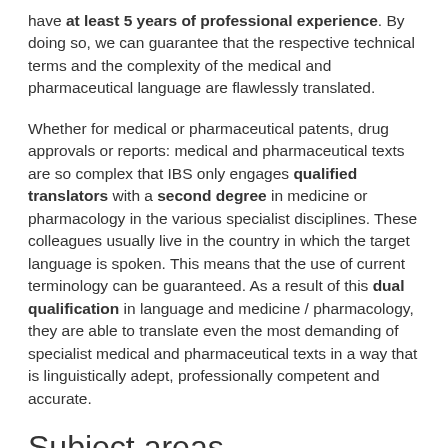have at least 5 years of professional experience. By doing so, we can guarantee that the respective technical terms and the complexity of the medical and pharmaceutical language are flawlessly translated.
Whether for medical or pharmaceutical patents, drug approvals or reports: medical and pharmaceutical texts are so complex that IBS only engages qualified translators with a second degree in medicine or pharmacology in the various specialist disciplines. These colleagues usually live in the country in which the target language is spoken. This means that the use of current terminology can be guaranteed. As a result of this dual qualification in language and medicine / pharmacology, they are able to translate even the most demanding of specialist medical and pharmaceutical texts in a way that is linguistically adept, professionally competent and accurate.
Subject areas